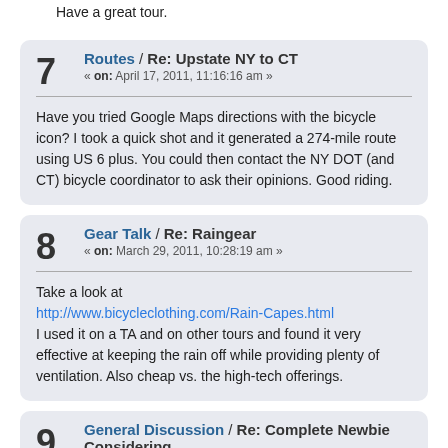Have a great tour.
7   Routes / Re: Upstate NY to CT
« on: April 17, 2011, 11:16:16 am »
Have you tried Google Maps directions with the bicycle icon? I took a quick shot and it generated a 274-mile route using US 6 plus. You could then contact the NY DOT (and CT) bicycle coordinator to ask their opinions. Good riding.
8   Gear Talk / Re: Raingear
« on: March 29, 2011, 10:28:19 am »
Take a look at http://www.bicycleclothing.com/Rain-Capes.html I used it on a TA and on other tours and found it very effective at keeping the rain off while providing plenty of ventilation. Also cheap vs. the high-tech offerings.
9   General Discussion / Re: Complete Newbie Considering Tour...